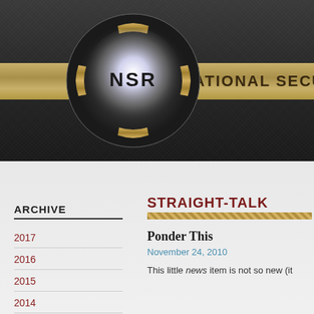[Figure (logo): NSR National Security Round Table logo — circular emblem with glowing center and gold accents, with text NSR, on dark carbon fiber background with gold banner reading THE NATIONAL SECURITY]
ARCHIVE
2017
2016
2015
2014
STRAIGHT-TALK
Ponder This
November 24, 2010
This little news item is not so new (it